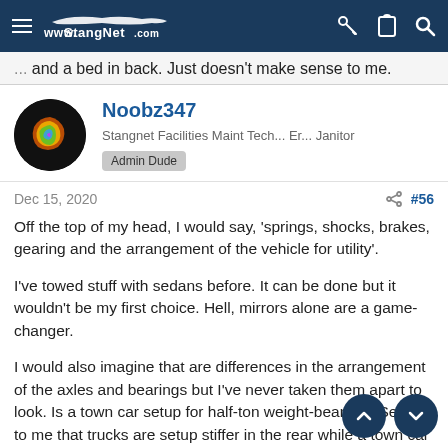www.StangNet.com
and a bed in back. Just doesn't make sense to me.
Noobz347
Stangnet Facilities Maint Tech... Er... Janitor  Admin Dude
Dec 15, 2020  #56
Off the top of my head, I would say, 'springs, shocks, brakes, gearing and the arrangement of the vehicle for utility'.

I've towed stuff with sedans before. It can be done but it wouldn't be my first choice. Hell, mirrors alone are a game-changer.

I would also imagine that are differences in the arrangement of the axles and bearings but I've never taken them apart to look. Is a town car setup for half-ton weight-bearing? Seems to me that trucks are setup stiffer in the rear while a town car would be setup ride quality.